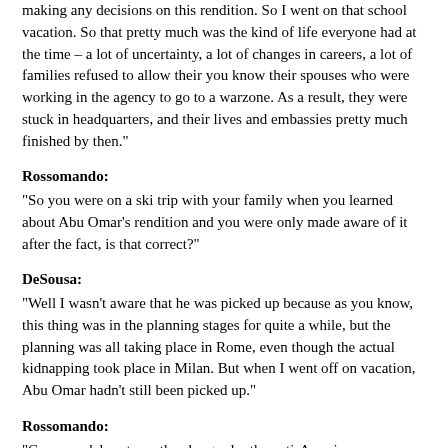making any decisions on this rendition. So I went on that school vacation. So that pretty much was the kind of life everyone had at the time – a lot of uncertainty, a lot of changes in careers, a lot of families refused to allow their you know their spouses who were working in the agency to go to a warzone. As a result, they were stuck in headquarters, and their lives and embassies pretty much finished by then."
Rossomando:
"So you were on a ski trip with your family when you learned about Abu Omar's rendition and you were only made aware of it after the fact, is that correct?"
DeSousa:
"Well I wasn't aware that he was picked up because as you know, this thing was in the planning stages for quite a while, but the planning was all taking place in Rome, even though the actual kidnapping took place in Milan. But when I went off on vacation, Abu Omar hadn't still been picked up."
Rossomando:
"Can you elaborate on the charges by the anti-American prosecutor, Spataro in Milan, were handed down?"
DeSousa:
"Yeah, the investigation started in 2005, I was one of the last to be